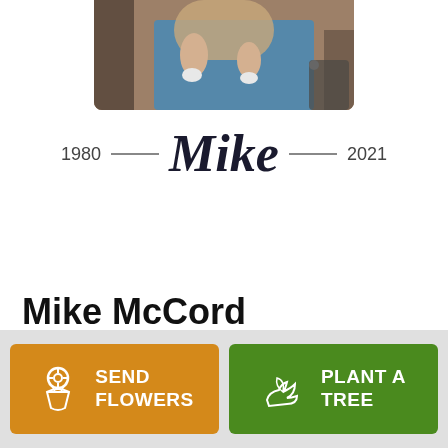[Figure (photo): Partial photo of Mike McCord, cropped at top, showing person in blue clothing holding a baby]
1980 — Mike — 2021
[Figure (other): Share button (blue rounded rectangle with share icon)]
Mike McCord
January 17, 1980 — March 20, 2021
[Figure (other): Send Flowers button (orange) and Plant a Tree button (green) in bottom bar]